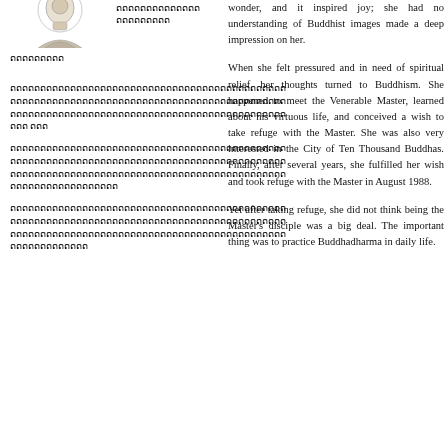[Figure (illustration): Partial illustration of a Buddhist figure or portrait at top left]
ດດດດດດດດດດດດດດ ດດດດດດດດດ
ດດດດດດດດດດດດດດດດດດດດດດດດດດດດດດດດດດດດດດດດດດດດດດດດດດດດດດດດດດດດດດດດດດດດດດດດດດດດດດດດດດດດດດດດດດດດດດດດດດດດດດດດດດດດດດ ດດດ ດດດ
ດດດດດດດດດດດດດດດດດດດດດດດດດດດດດດດດດດດດດດດດດດດດດດດດດດດດດດດດດດດດດດດດດດດດດດດດດດດດດດດດດດດດດດດດດດດດດດດດດດດດດດດດດດດດດດດດດດດດດດ
ດດດດດດດດດດດດດດດດດດດດດດດດດດດດດດດດດດດດດດດດດດດດດດດດດດດດດດດດດດດດດດດດດດດດດດດດດດດດດດດດດດດດດດດດດດດດດດດດດດດດດດດດດດດດດດດດດດດດດດດດດດ
wonder, and it inspired joy; she had no understanding of Buddhist images made a deep impression on her.
When she felt pressured and in need of spiritual relief, her thoughts turned to Buddhism. She happened to meet the Venerable Master, learned about his virtuous life, and conceived a wish to take refuge with the Master. She was also very interested in the City of Ten Thousand Buddhas. Finally, after several years, she fulfilled her wish and took refuge with the Master in August 1988.
Yet after taking refuge, she did not think being the Master's disciple was a big deal. The important thing was to practice Buddhadharma in daily life.